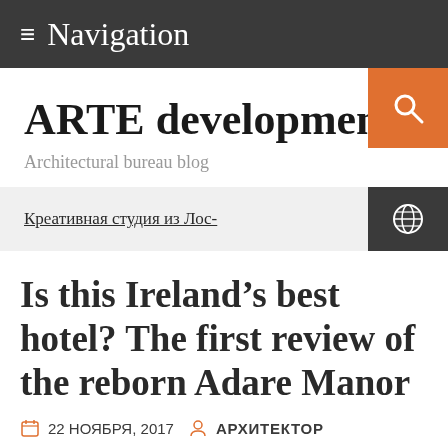≡ Navigation
[Figure (other): Orange search button with magnifying glass icon in top right]
ARTE development
Architectural bureau blog
Креативная студия из Лос-
[Figure (other): Dark globe icon button on the right of the ticker strip]
Is this Ireland's best hotel? The first review of the reborn Adare Manor
22 НОЯБРЯ, 2017  АРХИТЕКТОР